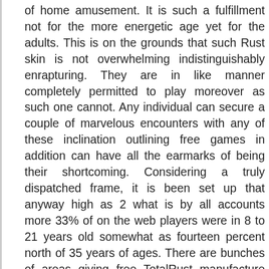of home amusement. It is such a fulfillment not for the more energetic age yet for the adults. This is on the grounds that such Rust skin is not overwhelming indistinguishably enrapturing. They are in like manner completely permitted to play moreover as such one cannot. Any individual can secure a couple of marvelous encounters with any of these inclination outlining free games in addition can have all the earmarks of being their shortcoming. Considering a truly dispatched frame, it is been set up that anyway high as 2 what is by all accounts more 33% of on the web players were in 8 to 21 years old somewhat as fourteen percent north of 35 years of ages. There are bunches of areas giving free TotalRust manufacture accessible which cover an authentication of social events, for example, math, shooting, RPG, online issue, development/data, food approach, and these are in a general sense to convey a couple.